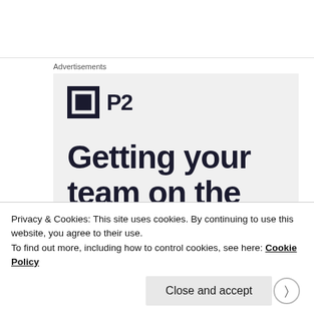Advertisements
[Figure (logo): P2 brand logo: dark square icon with white inner square border, followed by bold text 'P2']
Getting your team on the
Privacy & Cookies: This site uses cookies. By continuing to use this website, you agree to their use.
To find out more, including how to control cookies, see here: Cookie Policy
Close and accept